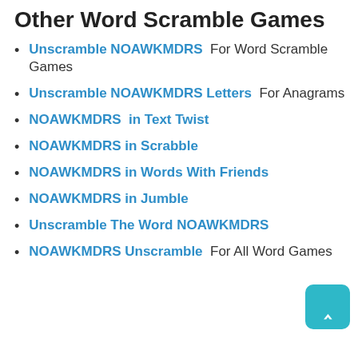Unscrambling NOAWKMDRS for Other Word Scramble Games
Unscramble NOAWKMDRS  For Word Scramble Games
Unscramble NOAWKMDRS Letters  For Anagrams
NOAWKMDRS  in Text Twist
NOAWKMDRS in Scrabble
NOAWKMDRS in Words With Friends
NOAWKMDRS in Jumble
Unscramble The Word NOAWKMDRS
NOAWKMDRS Unscramble  For All Word Games